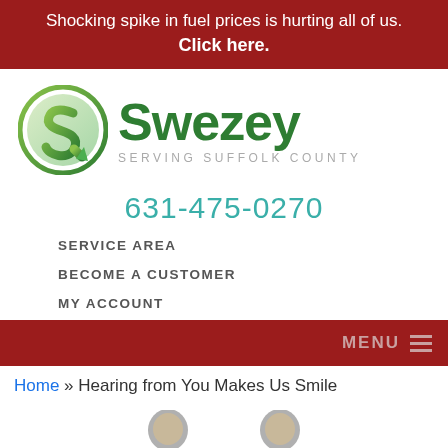Shocking spike in fuel prices is hurting all of us. Click here.
[Figure (logo): Swezey logo with green circular S icon and text 'Swezey Serving Suffolk County']
631-475-0270
SERVICE AREA
BECOME A CUSTOMER
MY ACCOUNT
MENU
Home » Hearing from You Makes Us Smile
[Figure (photo): Two people's headshots partially visible at bottom of page]